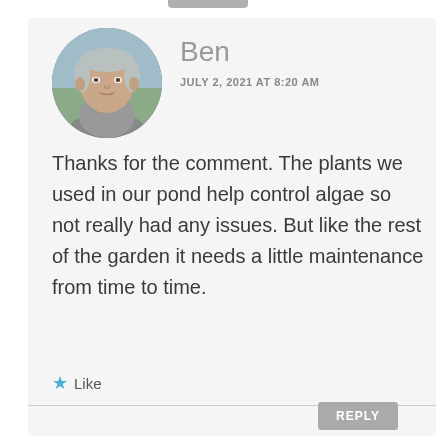[Figure (photo): Circular avatar photo of a man named Ben, with short light hair, looking slightly to the side, with a blurred outdoor background.]
Ben
JULY 2, 2021 AT 8:20 AM
Thanks for the comment. The plants we used in our pond help control algae so not really had any issues. But like the rest of the garden it needs a little maintenance from time to time.
Like
REPLY